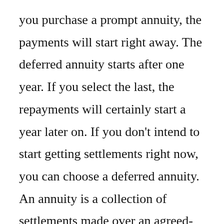you purchase a prompt annuity, the payments will start right away. The deferred annuity starts after one year. If you select the last, the repayments will certainly start a year later on. If you don't intend to start getting settlements right now, you can choose a deferred annuity. An annuity is a collection of settlements made over an agreed-upon period. They are frequently regular monthly, quarterly, or annual. In some cases, the repayments can be calculated mathematically. There are likewise